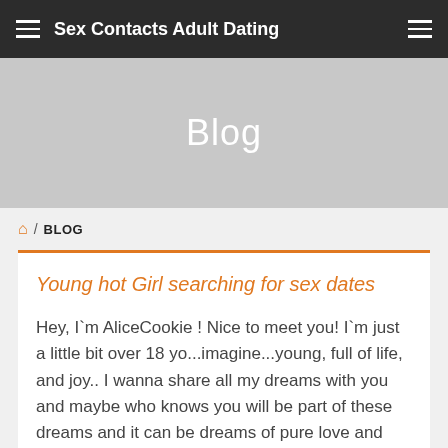Sex Contacts Adult Dating
Blog
🏠 / BLOG
Young hot Girl searching for sex dates
Hey, I`m AliceCookie ! Nice to meet you! I`m just a little bit over 18 yo...imagine...young, full of life, and joy.. I wanna share all my dreams with you and maybe who knows you will be part of these dreams and it can be dreams of pure love and tenderness or just a wild naughty adventure full